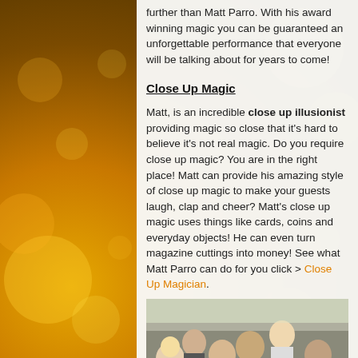further than Matt Parro. With his award winning magic you can be guaranteed an unforgettable performance that everyone will be talking about for years to come!
Close Up Magic
Matt, is an incredible close up illusionist providing magic so close that it's hard to believe it's not real magic. Do you require close up magic? You are in the right place! Matt can provide his amazing style of close up magic to make your guests laugh, clap and cheer? Matt's close up magic uses things like cards, coins and everyday objects! He can even turn magazine cuttings into money! See what Matt Parro can do for you click > Close Up Magician.
[Figure (photo): Group of people gathered around a magician performing close up magic at what appears to be an outdoor event or wedding reception.]